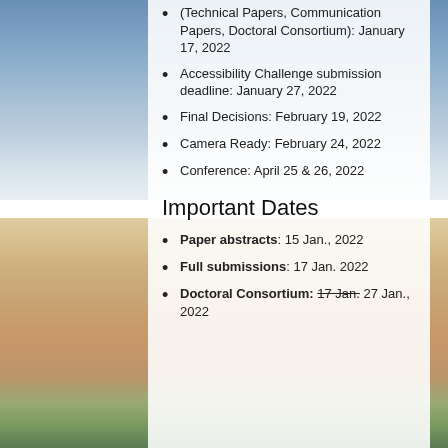(Technical Papers, Communication Papers, Doctoral Consortium): January 17, 2022
Accessibility Challenge submission deadline: January 27, 2022
Final Decisions: February 19, 2022
Camera Ready: February 24, 2022
Conference: April 25 & 26, 2022
Important Dates
Paper abstracts: 15 Jan., 2022
Full submissions: 17 Jan. 2022
Doctoral Consortium: 17 Jan. 27 Jan., 2022